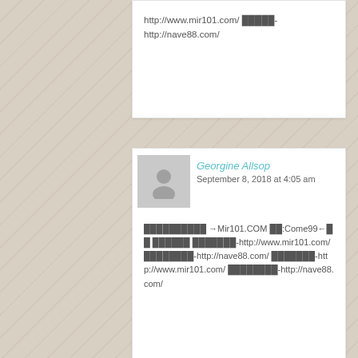http://www.mir101.com/ ████-http://nave88.com/
Georgine Allsop
September 8, 2018 at 4:05 am
██████████ →Mir101.COM ██:Come99←██ ██████ ███████ ████████-http://www.mir101.com/ ████████-http://nave88.com/ ███████-http://www.mir101.com/ ████████-http://nave88.com/
Jerry Haecker
September 8, 2018 at 6:08 pm
████████ →Mir101.COM ██:Come99←██ ████████ █████-http://www.mir101.com/ ██████-http://nave88.com/ █████-http://www.mir101.com/ ██████-http://nave88.com/